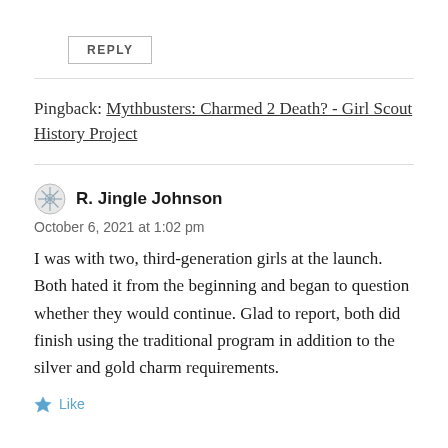REPLY
Pingback: Mythbusters: Charmed 2 Death? - Girl Scout History Project
R. Jingle Johnson
October 6, 2021 at 1:02 pm
I was with two, third-generation girls at the launch. Both hated it from the beginning and began to question whether they would continue. Glad to report, both did finish using the traditional program in addition to the silver and gold charm requirements.
Like